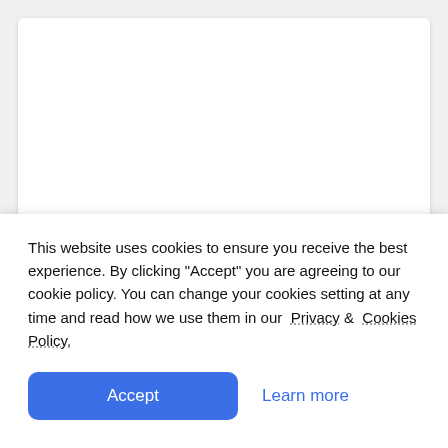[Figure (screenshot): White card area showing a blank image placeholder at top]
464  0  0
Travels Around Europe
Added by haleed
This website uses cookies to ensure you receive the best experience. By clicking "Accept" you are agreeing to our cookie policy. You can change your cookies setting at any time and read how we use them in our Privacy & Cookies Policy.
Accept
Learn more